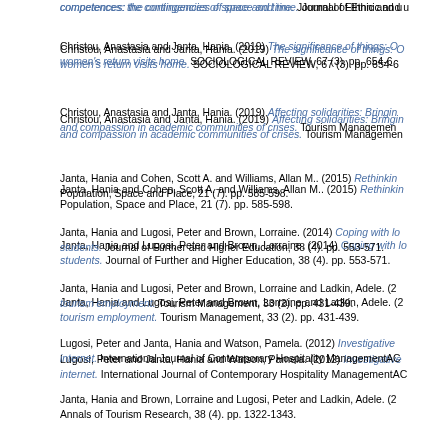competences: the contingencies of space and time. Journal of Ethnic and ...
Christou, Anastasia and Janta, Hania. (2019) The significance of things: O... women's return visits home. SOCIOLOGICAL REVIEW, 67 (3). pp. 654-6...
Christou, Anastasia and Janta, Hania. (2019) Affecting solidarities: Bringin... and compassion in academic communities of crises. Tourism Management...
Janta, Hania and Cohen, Scott A. and Williams, Allan M.. (2015) Rethinkin... Population, Space and Place, 21 (7). pp. 585-598.
Janta, Hania and Lugosi, Peter and Brown, Lorraine. (2014) Coping with lo... students. Journal of Further and Higher Education, 38 (4). pp. 553-571.
Janta, Hania and Lugosi, Peter and Brown, Lorraine and Ladkin, Adele. (2... tourism employment. Tourism Management, 33 (2). pp. 431-439.
Lugosi, Peter and Janta, Hania and Watson, Pamela. (2012) Investigative... internet. International Journal of Contemporary Hospitality ManagementAC...
Janta, Hania and Brown, Lorraine and Lugosi, Peter and Ladkin, Adele. (2... Annals of Tourism Research, 38 (4). pp. 1322-1343.
Book Section
Janta, Hania and Lugosi, Peter. (2022) Immigrant Workers. In: Encyclope...
edoc is powered by EPrints 3 which is developed by the School of Electronics and Computer Science at the University of Southampton.